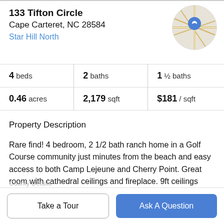133 Tifton Circle
Cape Carteret, NC 28584
Star Hill North
[Figure (map): Circular map thumbnail with location pin marker showing the property location]
| beds | baths | ½ baths |
| --- | --- | --- |
| 4 beds | 2 baths | 1 ½ baths |
| 0.46 acres | 2,179 sqft | $181 / sqft |
Property Description
Rare find! 4 bedroom, 2 1/2 bath ranch home in a Golf Course community just minutes from the beach and easy access to both Camp Lejeune and Cherry Point. Great room with cathedral ceilings and fireplace. 9ft ceilings throughout the rest of the home. 4 bedrooms AND an
County Details
Take a Tour
Ask A Question